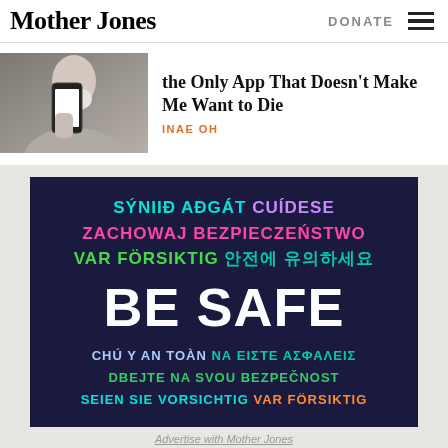Mother Jones
DONATE
the Only App That Doesn't Make Me Want to Die
INAE OH
[Figure (infographic): Dark navy square banner with multilingual text reading 'BE SAFE' in large white letters, surrounded by phrases in multiple languages: SÝNIÐ AÐGÁT (cyan), CUÍDESE (purple), ZACHOWAJ BEZPIECZEŃSTWO (pink/magenta), VAR FÖRSIKTIG (green), Korean text (teal), CHÚ Ý AN TOÀN (light blue), ΝΑ ΕΙΣΤΕ ΑΣΦΑΛΕΙΣ (teal), DBEJTE NA SVOU BEZPEČNOST (green), SEIEN SIE VORSICHTIG (cyan), VAR FÖRSIKTIG (orange)]
Advertise with Mother Jones